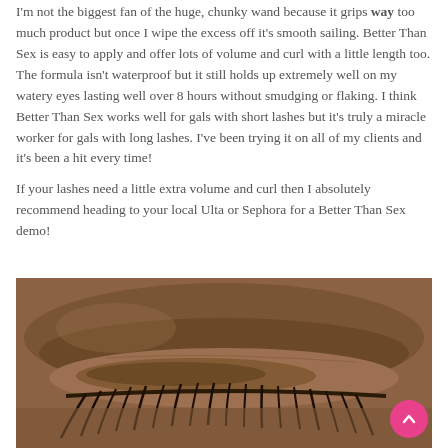I'm not the biggest fan of the huge, chunky wand because it grips way too much product but once I wipe the excess off it's smooth sailing. Better Than Sex is easy to apply and offer lots of volume and curl with a little length too. The formula isn't waterproof but it still holds up extremely well on my watery eyes lasting well over 8 hours without smudging or flaking. I think Better Than Sex works well for gals with short lashes but it's truly a miracle worker for gals with long lashes. I've been trying it on all of my clients and it's been a hit every time!

If your lashes need a little extra volume and curl then I absolutely recommend heading to your local Ulta or Sephora for a Better Than Sex demo!
[Figure (photo): Close-up photo of a person's closed eye with long lashes, showing dark skin and mascara on lashes. A pink circular scroll-to-top button is visible in the bottom right corner.]